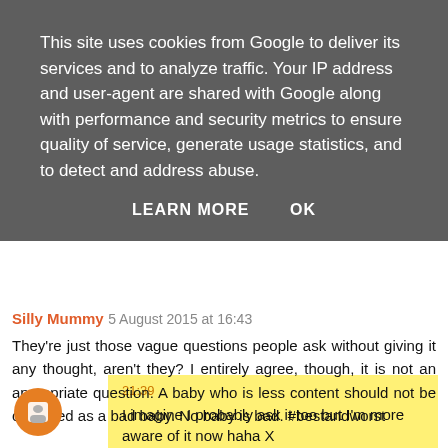This site uses cookies from Google to deliver its services and to analyze traffic. Your IP address and user-agent are shared with Google along with performance and security metrics to ensure quality of service, generate usage statistics, and to detect and address abuse.
LEARN MORE   OK
21:39
I imagine I probably ask it too but I'm more aware of it now haha X
Reply
Silly Mummy 5 August 2015 at 16:43
They're just those vague questions people ask without giving it any thought, aren't they? I entirely agree, though, it is not an appropriate question. A baby who is less content should not be classified as a bad baby. No baby is bad. #bestandworst